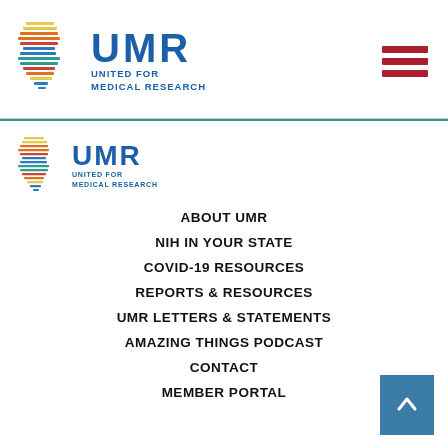[Figure (logo): UMR United for Medical Research logo - top header, large version with colorful horizontal bars icon]
[Figure (illustration): Hamburger menu icon - three dark red horizontal bars]
[Figure (logo): UMR United for Medical Research logo - footer, smaller version]
ABOUT UMR
NIH IN YOUR STATE
COVID-19 RESOURCES
REPORTS & RESOURCES
UMR LETTERS & STATEMENTS
AMAZING THINGS PODCAST
CONTACT
MEMBER PORTAL